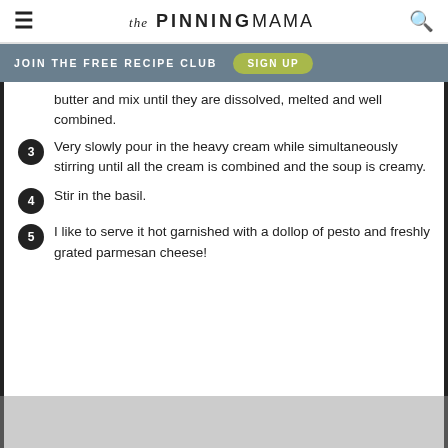The PINNING MAMA
JOIN THE FREE RECIPE CLUB   SIGN UP
butter and mix until they are dissolved, melted and well combined.
3 Very slowly pour in the heavy cream while simultaneously stirring until all the cream is combined and the soup is creamy.
4 Stir in the basil.
5 I like to serve it hot garnished with a dollop of pesto and freshly grated parmesan cheese!